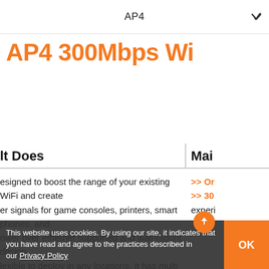AP4
AP4 300Mbps Wi
lt Does
Mai
esigned to boost the range of your existing WiFi and create er signals for game consoles, printers, smart phones, and ower over ethernet supported and wall-mount design lexible to deploy in any locations. It has multi operation nous application scenarios. It is an ideal Wi-Fi booster for uses, villas, eatery, large stores etc.
>> Or
>> 30
experience
>> M
This website uses cookies. By using our site, it indicates that you have read and agree to the practices described in our Privacy Policy